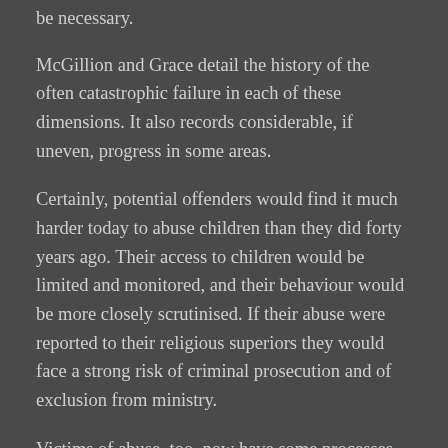be necessary.
McGillion and Grace detail the history of the often catastrophic failure in each of these dimensions. It also records considerable, if uneven, progress in some areas.
Certainly, potential offenders would find it much harder today to abuse children than they did forty years ago. Their access to children would be limited and monitored, and their behaviour would be more closely scrutinised. If their abuse were reported to their religious superiors they would face a strong risk of criminal prosecution and of exclusion from ministry.
Victims of abuse, too, now have some processes through which they may seek acknowledgment of